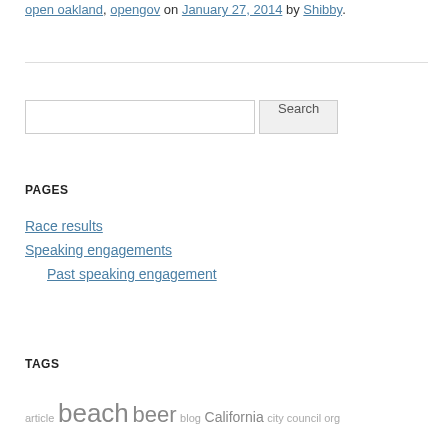crabrigade, citizen cio, code for america, open colorado, open oakland, opengov on January 27, 2014 by Shibby.
[Figure (other): Horizontal divider line]
[Figure (other): Search input box with Search button]
PAGES
Race results
Speaking engagements
Past speaking engagement
TAGS
article beach beer blog California city council org